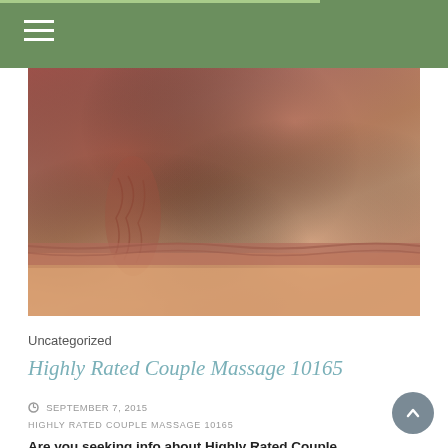[Figure (photo): Close-up photo of a person wearing a dusty rose/terracotta colored crop top or sports bra, showing midriff area with ruched fabric detail on the side.]
Uncategorized
Highly Rated Couple Massage 10165
SEPTEMBER 7, 2015
HIGHLY RATED COUPLE MASSAGE 10165
Are you seeking info about Highly Rated Couple